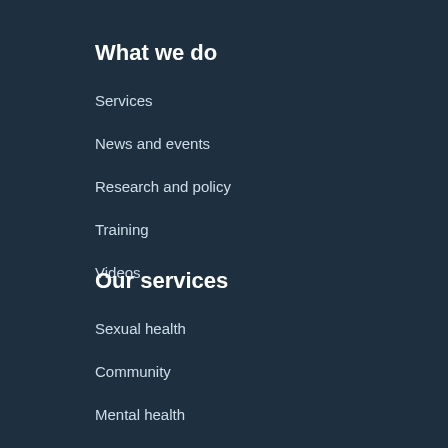What we do
Services
News and events
Research and policy
Training
Videos
Our services
Sexual health
Community
Mental health
Youth
HIV